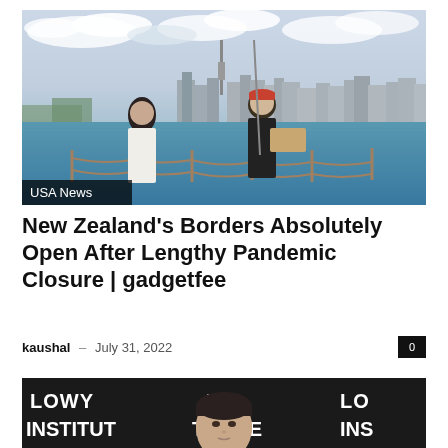[Figure (photo): Two people standing by a chain-link fence near water with Auckland city skyline in the background on a partly cloudy day.]
USA News
New Zealand's Borders Absolutely Open After Lengthy Pandemic Closure | gadgetfee
kaushal – July 31, 2022
[Figure (photo): Person in front of Lowy Institute backdrop/sign repeated across the background.]